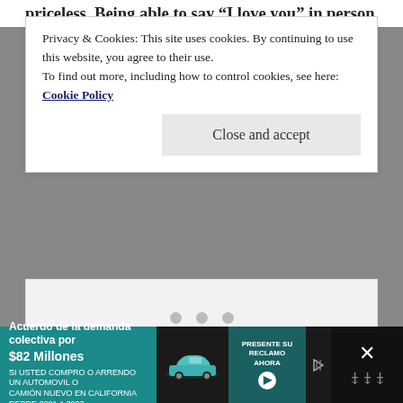priceless. Being able to say “I love you” in person
Privacy & Cookies: This site uses cookies. By continuing to use this website, you agree to their use.
To find out more, including how to control cookies, see here: Cookie Policy
Close and accept
[Figure (other): Gray content area with three gray dots indicating a loading or slideshow indicator]
[Figure (other): Advertisement banner: Acuerdo de la demanda colectiva por $82 Millones. SI USTED COMPRO O ARRENDO UN AUTOMOVIL O CAMION NUEVO EN CALIFORNIA DESDE 2001 A 2003. PRESENTE SU RECLAMO AHORA button, with car image.]